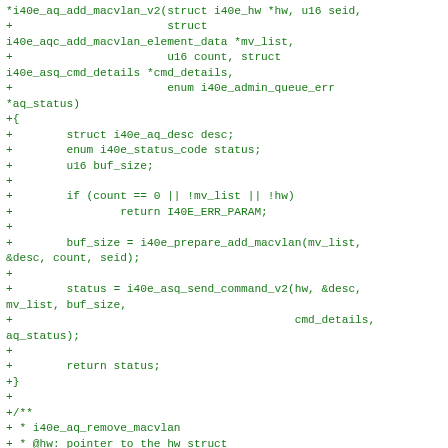Code diff showing i40e_aq_add_macvlan_v2 and i40e_aq_remove_macvlan function definitions in C